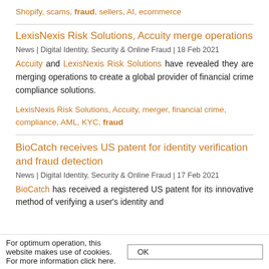Shopify, scams, fraud, sellers, AI, ecommerce
LexisNexis Risk Solutions, Accuity merge operations
News | Digital Identity, Security & Online Fraud | 18 Feb 2021
Accuity and LexisNexis Risk Solutions have revealed they are merging operations to create a global provider of financial crime compliance solutions.
LexisNexis Risk Solutions, Accuity, merger, financial crime, compliance, AML, KYC, fraud
BioCatch receives US patent for identity verification and fraud detection
News | Digital Identity, Security & Online Fraud | 17 Feb 2021
BioCatch has received a registered US patent for its innovative method of verifying a user's identity and
For optimum operation, this website makes use of cookies. For more information click here.